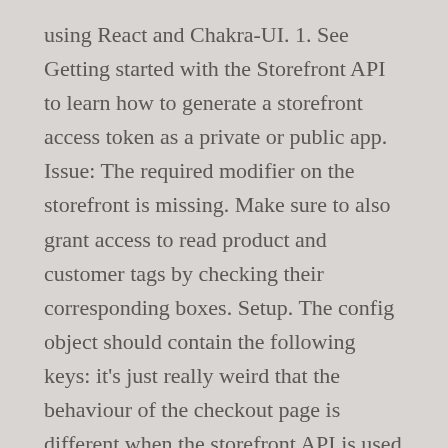using React and Chakra-UI. 1. See Getting started with the Storefront API to learn how to generate a storefront access token as a private or public app. Issue: The required modifier on the storefront is missing. Make sure to also grant access to read product and customer tags by checking their corresponding boxes. Setup. The config object should contain the following keys: it's just really weird that the behaviour of the checkout page is different when the storefront API is used despite it supposed to be uniformed across all Shopify stores. Create standout multichannel customer experiences with custom storefront tools. Private apps built with the Storefront API,